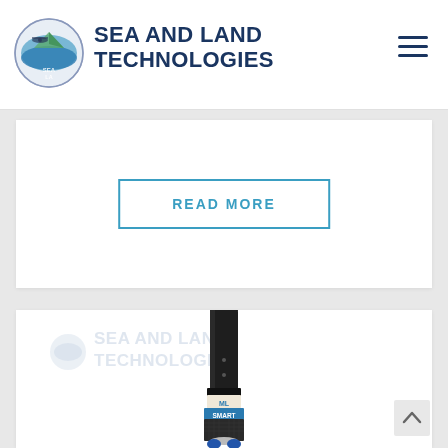SEA AND LAND TECHNOLOGIES
READ MORE
[Figure (photo): A black cylindrical instrument (likely a SMART underwater CTD sensor or similar oceanographic probe) with a blue band labeled 'SMART' and an 'ML' logo, with carbon fiber patterned lower section and blue sensor ports at the bottom. A watermark reads 'SEA AND LAND TECHNOLOGIES'.]